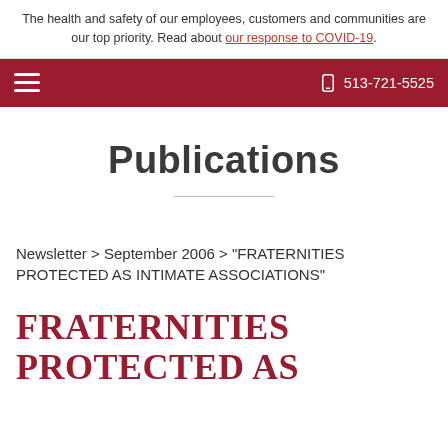The health and safety of our employees, customers and communities are our top priority. Read about our response to COVID-19.
513-721-5525
Publications
Newsletter > September 2006 > "FRATERNITIES PROTECTED AS INTIMATE ASSOCIATIONS"
FRATERNITIES PROTECTED AS